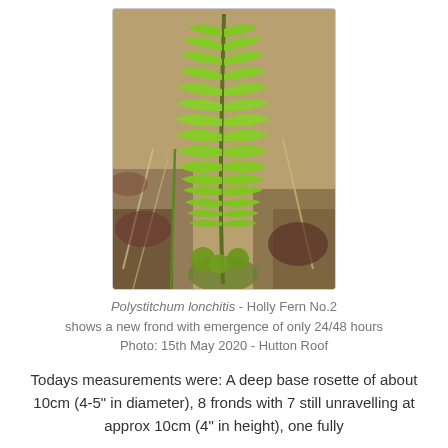[Figure (photo): Close-up photograph of a Polystichum lonchitis (Holly Fern) frond showing a new emergent frond with toothed green pinnae against a background of soil and dead leaves.]
Polystitchum lonchitis - Holly Fern No.2 shows a new frond with emergence of only 24/48 hours Photo: 15th May 2020 - Hutton Roof
Todays measurements were: A deep base rosette of about 10cm (4-5" in diameter), 8 fronds with 7 still unravelling at approx 10cm (4" in height), one fully